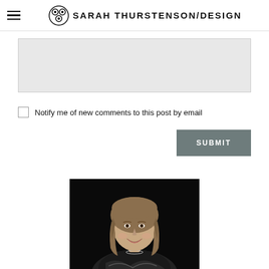SARAH THURSTENSON/DESIGN
[Figure (other): Gray empty textarea input box]
Notify me of new comments to this post by email
SUBMIT
[Figure (photo): Headshot of a woman with curly/wavy medium-length hair, smiling, wearing a patterned black and white top and a necklace, against a dark background]